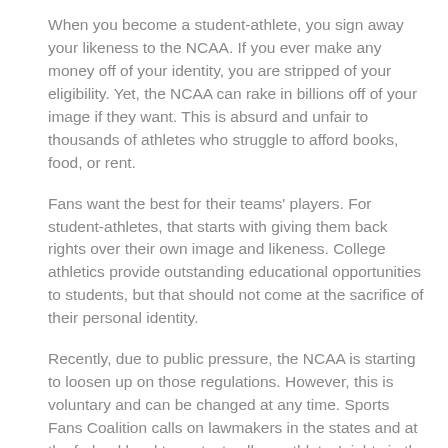When you become a student-athlete, you sign away your likeness to the NCAA. If you ever make any money off of your identity, you are stripped of your eligibility. Yet, the NCAA can rake in billions off of your image if they want. This is absurd and unfair to thousands of athletes who struggle to afford books, food, or rent.
Fans want the best for their teams' players. For student-athletes, that starts with giving them back rights over their own image and likeness. College athletics provide outstanding educational opportunities to students, but that should not come at the sacrifice of their personal identity.
Recently, due to public pressure, the NCAA is starting to loosen up on those regulations. However, this is voluntary and can be changed at any time. Sports Fans Coalition calls on lawmakers in the states and at the federal level to protect college athletes' rights in the statute.
EQUAL PAY FOR EQUAL PLAY